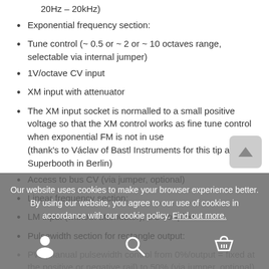20Hz – 20kHz)
Exponential frequency section:
Tune control (~ 0.5 or ~ 2 or ~ 10 octaves range, selectable via internal jumper)
1V/octave CV input
XM input with attenuator
The XM input socket is normalled to a small positive voltage so that the XM control works as fine tune control when exponential FM is not in use (thank's to Václav of Bastl Instruments for this tip at Superbooth in Berlin)
Access to bus CV (via jumper, optional)
Linear frequency section:
LM input (without attenuator), DC coupled
Pulsewidth section for rectangle output:
PW (manual pulsewidth control from 0%/output = fixed at the positive or negative rail) to 50% (via jumper, optional)
Our website uses cookies to make your browser experience better. By using our website, you agree to our use of cookies in accordance with our cookie policy. Find out more.